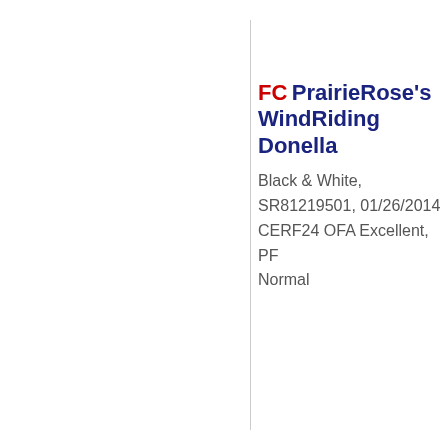FC PrairieRose's WindRiding Donella
Black & White, SR81219501, 01/26/2014 CERF24 OFA Excellent, PF Normal